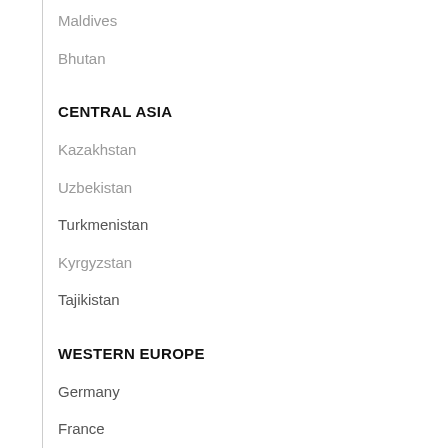Maldives
Bhutan
CENTRAL ASIA
Kazakhstan
Uzbekistan
Turkmenistan
Kyrgyzstan
Tajikistan
WESTERN EUROPE
Germany
France
Netherlands
Switzerland
Belgium
Austria